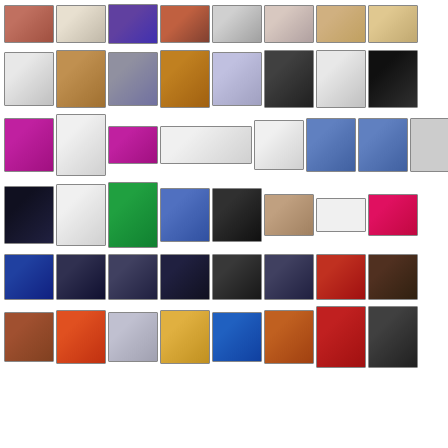[Figure (photo): Grid of thumbnail images arranged in 6 rows of 8 thumbnails each, showing a mix of portraits, artworks, exhibition materials, event photos, presentation screenshots, and cultural artifacts related to Jewish art and culture.]
[Figure (photo): Row 2: Artworks and exhibition materials including sketches, paintings, decorative objects, and publication covers]
[Figure (photo): Row 3: Website screenshots, logos (ARC, J:da), and portrait photos]
[Figure (photo): Row 4: Event promotional material (janda), webpage screenshots, group event photo, plant photo, person photo, Haaretz logo, FEAST magazine cover]
[Figure (photo): Row 5: Conference/presentation room photos showing projected slides and audience]
[Figure (photo): Row 6: Art and cultural artifacts including colorful sculpture, clock/chandelier, menorah, hanukkiah, building exterior, and portrait artworks]